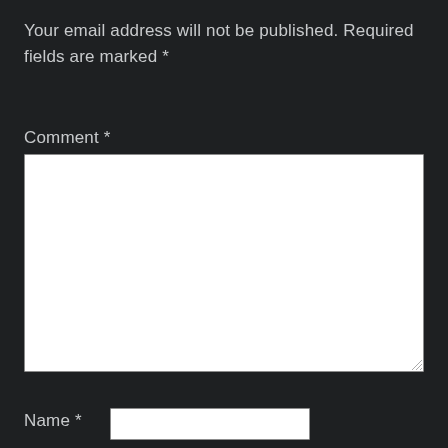Your email address will not be published. Required fields are marked *
Comment *
[Figure (screenshot): Empty comment textarea input field with white background and resize handle]
Name *
[Figure (screenshot): Empty name text input field with white background]